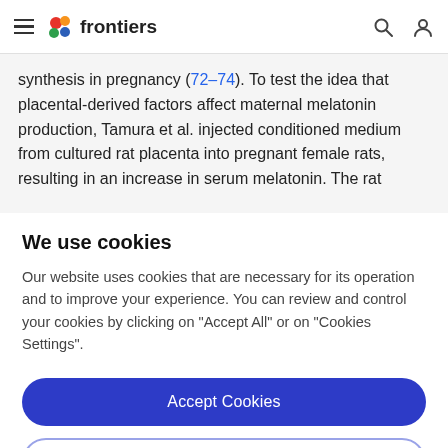frontiers
synthesis in pregnancy (72–74). To test the idea that placental-derived factors affect maternal melatonin production, Tamura et al. injected conditioned medium from cultured rat placenta into pregnant female rats, resulting in an increase in serum melatonin. The rat
We use cookies
Our website uses cookies that are necessary for its operation and to improve your experience. You can review and control your cookies by clicking on "Accept All" or on "Cookies Settings".
Accept Cookies
Cookies Settings